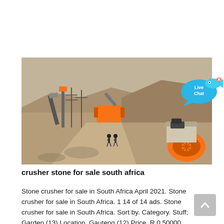[Figure (photo): Aerial view of a stone crusher / quarry site in a dry, hilly landscape with orange crushing machinery, conveyor structures, vehicles, and two people standing in the foreground.]
[Figure (infographic): Live Chat bubble widget overlaid on the top-right of the photo, showing a blue speech bubble with a fish icon and the text 'Live Chat'.]
crusher stone for sale south africa
Stone crusher for sale in South Africa April 2021. Stone crusher for sale in South Africa. 1 14 of 14 ads. Stone crusher for sale in South Africa. Sort by. Category. Stuff; Garden (13) Location. Gauteng (12) Price. R 0 50000.